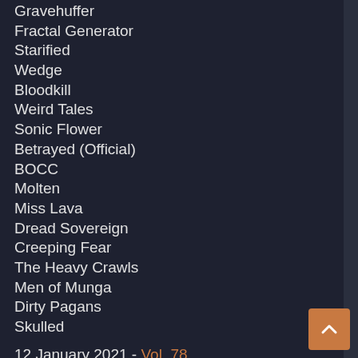Gravehuffer
Fractal Generator
Starified
Wedge
Bloodkill
Weird Tales
Sonic Flower
Betrayed (Official)
BOCC
Molten
Miss Lava
Dread Sovereign
Creeping Fear
The Heavy Crawls
Men of Munga
Dirty Pagans
Skulled
12 January 2021 - Vol. 78
Mother of Graves
Pink Cigs